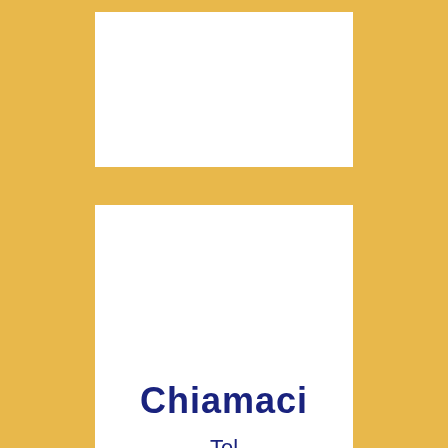Chiamaci
Tel
We use cookies on our website to give you the most relevant experience by remembering your preferences and repeat visits. By clicking “Accept”, you consent to the use of ALL the cookies.
ACCEPT
Read More